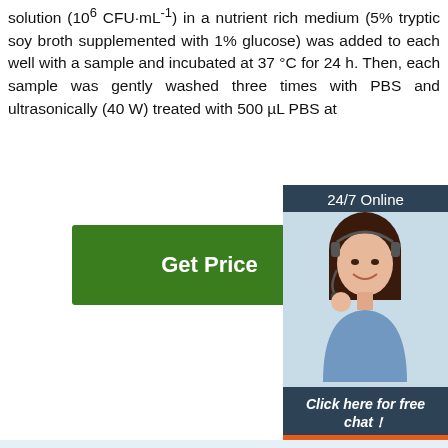solution (10⁶ CFU·mL⁻¹) in a nutrient rich medium (5% tryptic soy broth supplemented with 1% glucose) was added to each well with a sample and incubated at 37 °C for 24 h. Then, each sample was gently washed three times with PBS and ultrasonically (40 W) treated with 500 µL PBS at
[Figure (other): Green 'Get Price' button]
[Figure (other): Customer service chat widget with '24/7 Online' header, photo of woman with headset, 'Click here for free chat!' text, and orange QUOTATION button]
[Figure (schematic): Distillation apparatus diagram with Chinese and English labels: 冷却管/Cooling pipe, 散热/Radiator, 植物原材料/Plant raw materials, 水 water, essential oil TOP logo]